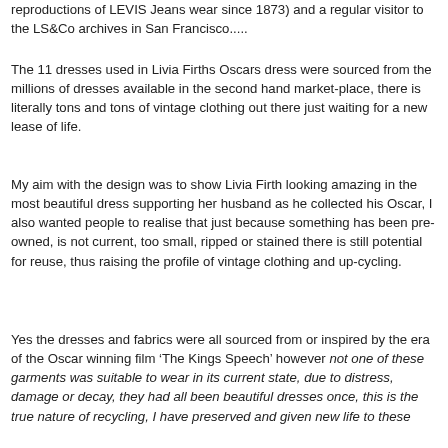reproductions of LEVIS Jeans wear since 1873) and a regular visitor to the LS&Co archives in San Francisco.....
The 11 dresses used in Livia Firths Oscars dress were sourced from the millions of dresses available in the second hand market-place, there is literally tons and tons of vintage clothing out there just waiting for a new lease of life.
My aim with the design was to show Livia Firth looking amazing in the most beautiful dress supporting her husband as he collected his Oscar, I also wanted people to realise that just because something has been pre-owned, is not current, too small, ripped or stained there is still potential for reuse, thus raising the profile of vintage clothing and up-cycling.
Yes the dresses and fabrics were all sourced from or inspired by the era of the Oscar winning film ‘The Kings Speech’ however not one of these garments was suitable to wear in its current state, due to distress, damage or decay, they had all been beautiful dresses once, this is the true nature of recycling, I have preserved and given new life to these